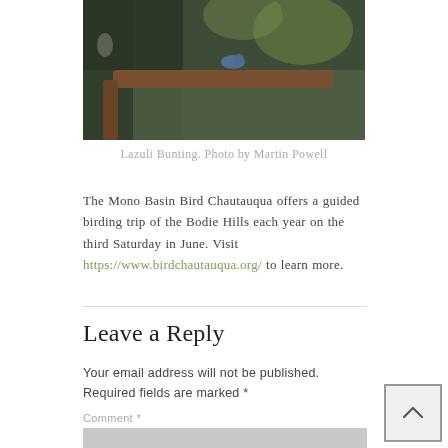[Figure (photo): Partial photo of a Lazuli Bunting bird perched on a branch against a dark forested background, cropped at top]
Lazuli Bunting. Photo by Martin Powell
The Mono Basin Bird Chautauqua offers a guided birding trip of the Bodie Hills each year on the third Saturday in June. Visit https://www.birdchautauqua.org/ to learn more.
Leave a Reply
Your email address will not be published. Required fields are marked *
Comment *
[Figure (screenshot): Comment text input area (gray box) with a back-to-top button in the lower right corner]